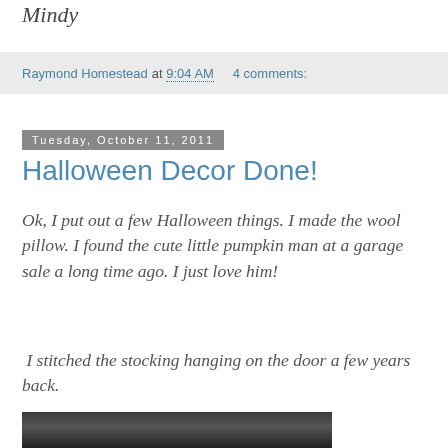Mindy
Raymond Homestead at 9:04 AM   4 comments:
Tuesday, October 11, 2011
Halloween Decor Done!
Ok, I put out a few Halloween things. I made the wool pillow. I found the cute little pumpkin man at a garage sale a long time ago. I just love him!
I stitched the stocking hanging on the door a few years back.
[Figure (photo): Photo of a pumpkin man figurine and decorations near a door]